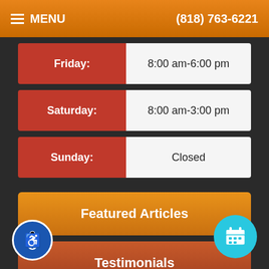MENU   (818) 763-6221
| Day | Hours |
| --- | --- |
| Friday: | 8:00 am-6:00 pm |
| Saturday: | 8:00 am-3:00 pm |
| Sunday: | Closed |
Featured Articles
Testimonials